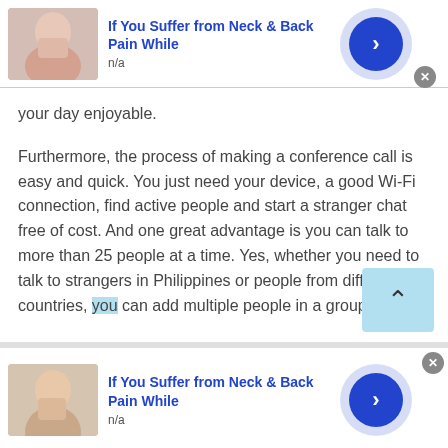[Figure (infographic): Top advertisement banner: thumbnail photo of woman touching neck, bold blue title 'If You Suffer from Neck & Back Pain While', subtitle 'n/a', blue circle arrow button, close X button]
your day enjoyable.
Furthermore, the process of making a conference call is easy and quick. You just need your device, a good Wi-Fi connection, find active people and start a stranger chat free of cost. And one great advantage is you can talk to more than 25 people at a time. Yes, whether you need to talk to strangers in Philippines or people from different countries, you can add multiple people in a group.
[Figure (infographic): Bottom advertisement banner: thumbnail photo of woman touching neck/throat, bold blue title 'If You Suffer from Neck & Back Pain While', subtitle 'n/a', blue circle arrow button, close X button at top right]